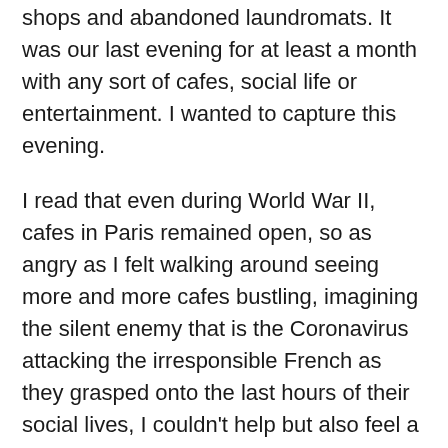shops and abandoned laundromats. It was our last evening for at least a month with any sort of cafes, social life or entertainment. I wanted to capture this evening.
I read that even during World War II, cafes in Paris remained open, so as angry as I felt walking around seeing more and more cafes bustling, imagining the silent enemy that is the Coronavirus attacking the irresponsible French as they grasped onto the last hours of their social lives, I couldn't help but also feel a real solidarity with them.
The day AFTER the terrorist attacks in November 2015 where 138 people died in